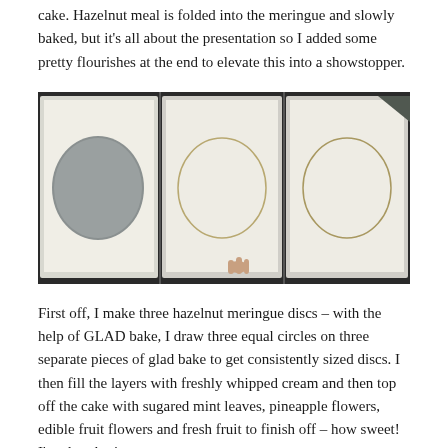cake. Hazelnut meal is folded into the meringue and slowly baked, but it's all about the presentation so I added some pretty flourishes at the end to elevate this into a showstopper.
[Figure (photo): Three baking trays lined with baking paper (glad bake), each with a circle drawn on it to guide meringue disc sizing. A round cake tin is visible on the left tray, and hands are seen drawing circles on the trays.]
First off, I make three hazelnut meringue discs – with the help of GLAD bake, I draw three equal circles on three separate pieces of glad bake to get consistently sized discs. I then fill the layers with freshly whipped cream and then top off the cake with sugared mint leaves, pineapple flowers, edible fruit flowers and fresh fruit to finish off – how sweet! I'm also sharing great